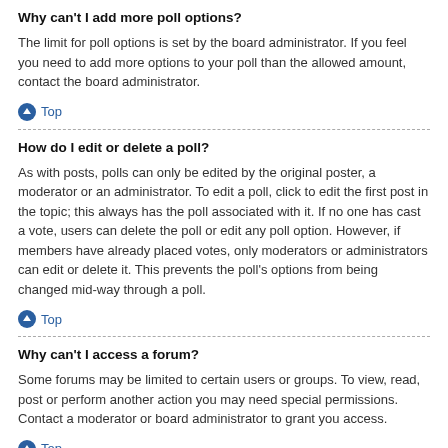Why can't I add more poll options?
The limit for poll options is set by the board administrator. If you feel you need to add more options to your poll than the allowed amount, contact the board administrator.
⬆ Top
How do I edit or delete a poll?
As with posts, polls can only be edited by the original poster, a moderator or an administrator. To edit a poll, click to edit the first post in the topic; this always has the poll associated with it. If no one has cast a vote, users can delete the poll or edit any poll option. However, if members have already placed votes, only moderators or administrators can edit or delete it. This prevents the poll's options from being changed mid-way through a poll.
⬆ Top
Why can't I access a forum?
Some forums may be limited to certain users or groups. To view, read, post or perform another action you may need special permissions. Contact a moderator or board administrator to grant you access.
⬆ Top
Why can't I add attachments?
Attachment permissions are granted on a per forum, per group, or per user